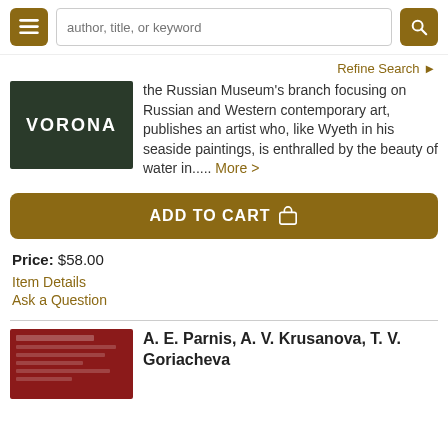author, title, or keyword
Refine Search
the Russian Museum's branch focusing on Russian and Western contemporary art, publishes an artist who, like Wyeth in his seaside paintings, is enthralled by the beauty of water in..... More >
ADD TO CART
Price: $58.00
Item Details
Ask a Question
A. E. Parnis, A. V. Krusanova, T. V. Goriacheva